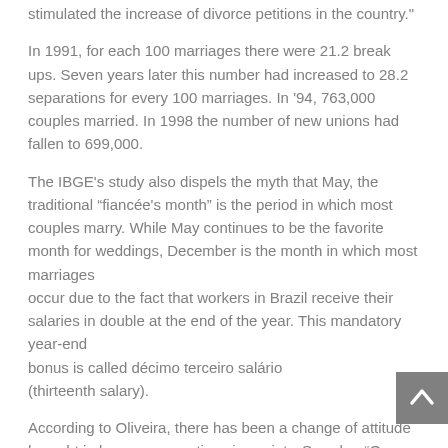stimulated the increase of divorce petitions in the country."
In 1991, for each 100 marriages there were 21.2 break ups. Seven years later this number had increased to 28.2 separations for every 100 marriages. In '94, 763,000 couples married. In 1998 the number of new unions had fallen to 699,000.
The IBGE's study also dispels the myth that May, the traditional “fiancée's month” is the period in which most couples marry. While May continues to be the favorite month for weddings, December is the month in which most marriages
occur due to the fact that workers in Brazil receive their salaries in double at the end of the year. This mandatory year-end
bonus is called décimo terceiro salário
(thirteenth salary).
According to Oliveira, there has been a change of attitude brought in by new perceptions in society. Says he, “Our study shows that we are having a change of habits in Brazil. In the old days, that couple that decided to live together